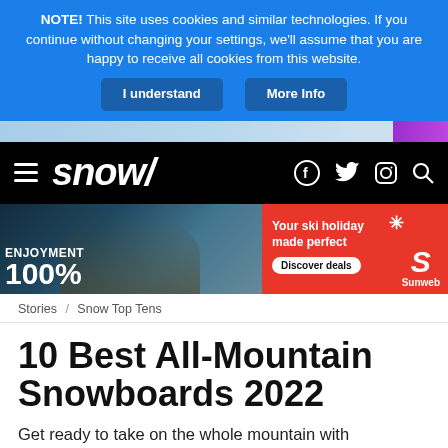NOTE! This site uses cookies and similar technologies. If you continue without changing your settings, we'll assume that you are happy to receive all cookies from this website.
I understand | More Info
[Figure (screenshot): Partial ski slope image strip with purple banner on right]
[Figure (logo): Snow/ magazine navigation bar with hamburger menu, snow/ logo in italic, and social icons (Facebook, Twitter, Instagram, Search) on black background]
[Figure (photo): Advertisement banner: left side shows skiers with ENJOYMENT 100% text on dark/blue background; right side is red with 'Your ski holiday made perfect' text, Discover deals button, and Sunweb logo]
Stories / Snow Top Tens
10 Best All-Mountain Snowboards 2022
Get ready to take on the whole mountain with